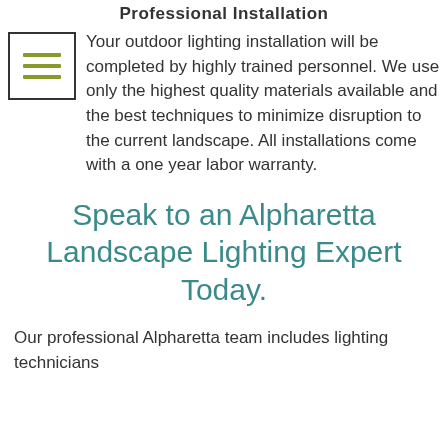Professional Installation
[Figure (illustration): Menu/hamburger icon — a bordered square containing three horizontal olive/yellow-green lines]
Your outdoor lighting installation will be completed by highly trained personnel. We use only the highest quality materials available and the best techniques to minimize disruption to the current landscape. All installations come with a one year labor warranty.
Speak to an Alpharetta Landscape Lighting Expert Today.
Our professional Alpharetta team includes lighting technicians